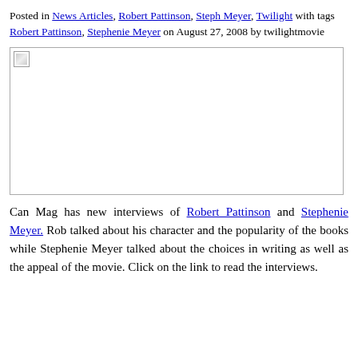Posted in News Articles, Robert Pattinson, Steph Meyer, Twilight with tags Robert Pattinson, Stephenie Meyer on August 27, 2008 by twilightmovie
[Figure (photo): A large image placeholder (broken/unavailable image) occupying most of the page width.]
Can Mag has new interviews of Robert Pattinson and Stephenie Meyer. Rob talked about his character and the popularity of the books while Stephenie Meyer talked about the choices in writing as well as the appeal of the movie. Click on the link to read the interviews.